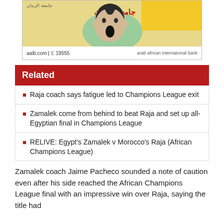[Figure (photo): Advertisement banner for Arab African International Bank (AAIB) featuring a surprised woman's face with Arabic text, aaib.com and phone number 19555]
Related
Raja coach says fatigue led to Champions League exit
Zamalek come from behind to beat Raja and set up all-Egyptian final in Champions League
RELIVE: Egypt's Zamalek v Morocco's Raja (African Champions League)
Zamalek coach Jaime Pacheco sounded a note of caution even after his side reached the African Champions League final with an impressive win over Raja, saying the title had